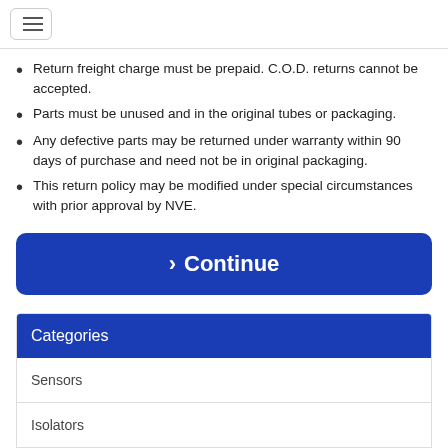Return freight charge must be prepaid. C.O.D. returns cannot be accepted.
Parts must be unused and in the original tubes or packaging.
Any defective parts may be returned under warranty within 90 days of purchase and need not be in original packaging.
This return policy may be modified under special circumstances with prior approval by NVE.
› Continue
Categories
Sensors
Isolators
Power ICs